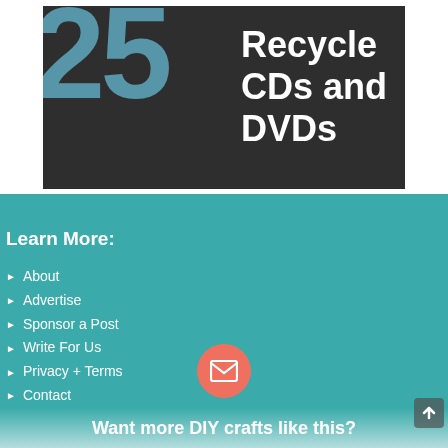[Figure (illustration): Banner image showing a large teal '25' numeral with text 'Recycle CDs and DVDs' in white bold font on dark background]
Learn More:
About
Advertise
Sponsor a Post
Write For Us
Privacy + Terms
Contact
[Figure (illustration): Email envelope icon in white inside a coral/salmon-colored circle]
Want more DIY crafts like this?